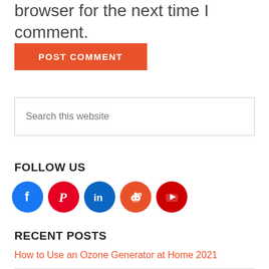browser for the next time I comment.
POST COMMENT
Search this website
FOLLOW US
[Figure (infographic): Five social media icon circles: Facebook (blue), Pinterest (red), LinkedIn (blue), Reddit (orange-red), YouTube (red)]
RECENT POSTS
How to Use an Ozone Generator at Home 2021